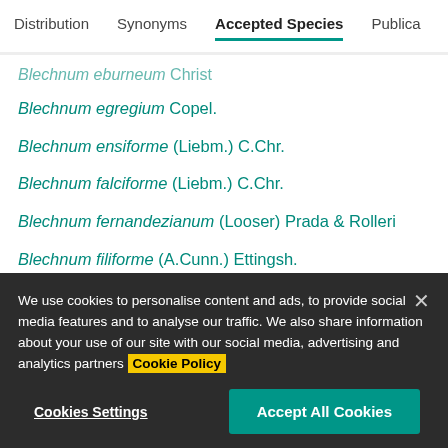Distribution | Synonyms | Accepted Species | Publications
Blechnum eburneum Christ
Blechnum egregium Copel.
Blechnum ensiforme (Liebm.) C.Chr.
Blechnum falciforme (Liebm.) C.Chr.
Blechnum fernandezianum (Looser) Prada & Rolleri
Blechnum filiforme (A.Cunn.) Ettingsh.
Blechnum finlaysonianum Wall. ex Hook. & Grev.
We use cookies to personalise content and ads, to provide social media features and to analyse our traffic. We also share information about your use of our site with our social media, advertising and analytics partners Cookie Policy
Cookies Settings
Accept All Cookies